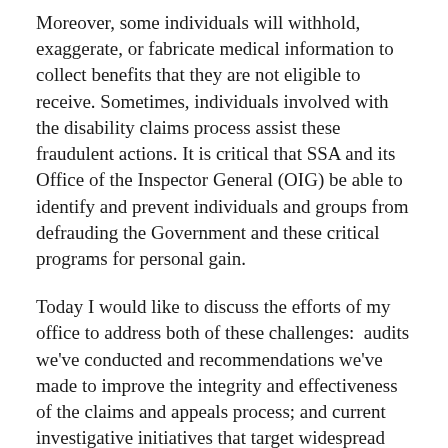Moreover, some individuals will withhold, exaggerate, or fabricate medical information to collect benefits that they are not eligible to receive. Sometimes, individuals involved with the disability claims process assist these fraudulent actions. It is critical that SSA and its Office of the Inspector General (OIG) be able to identify and prevent individuals and groups from defrauding the Government and these critical programs for personal gain.
Today I would like to discuss the efforts of my office to address both of these challenges:  audits we've conducted and recommendations we've made to improve the integrity and effectiveness of the claims and appeals process; and current investigative initiatives that target widespread fraud schemes and identify vulnerabilities in the claims process.
Reviews and